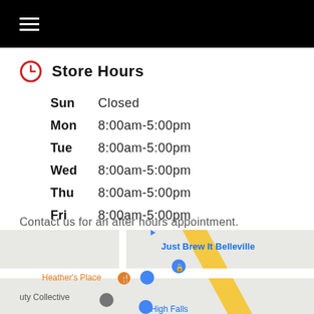≡
Store Hours
| Day | Hours |
| --- | --- |
| Sun | Closed |
| Mon | 8:00am-5:00pm |
| Tue | 8:00am-5:00pm |
| Wed | 8:00am-5:00pm |
| Thu | 8:00am-5:00pm |
| Fri | 8:00am-5:00pm |
| Sat | 9:00am-4:00pm |
Contact us for an after hours appointment.
[Figure (map): Google Maps snippet showing Just Brew It Belleville location with surrounding places including Heather's Place, uty Collective, and High Falls markers visible.]